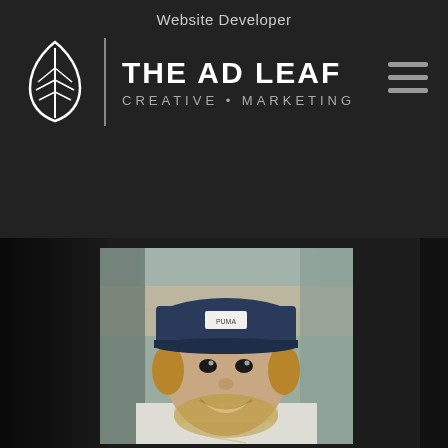Website Developer
[Figure (logo): The Ad Leaf Creative Marketing logo: white leaf icon, vertical divider, text 'THE AD LEAF' large, 'CREATIVE • MARKETING' subtitle, and hamburger menu icon top right]
[Figure (photo): Portrait photo of a smiling man with a beard wearing a dark blue baseball cap with a patch label, inside a vehicle, wearing a white hoodie, trees visible through sunroof in background]